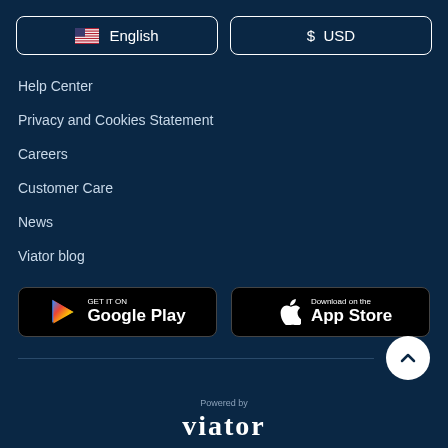🇺🇸 English
$ USD
Help Center
Privacy and Cookies Statement
Careers
Customer Care
News
Viator blog
[Figure (logo): GET IT ON Google Play button (black background, Play Store triangle icon)]
[Figure (logo): Download on the App Store button (black background, Apple logo)]
Powered by
viator